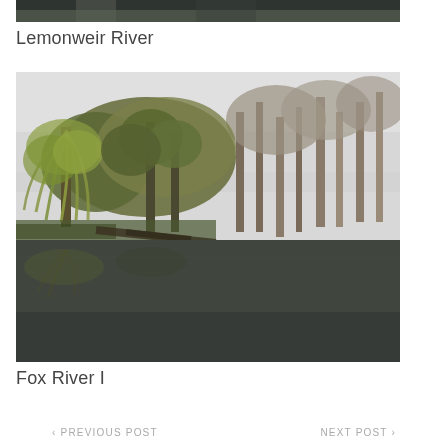[Figure (photo): Partial top of a river/nature photograph, cropped — dark tones suggesting water and trees (Lemonweir River)]
Lemonweir River
[Figure (photo): Photograph of Fox River I: a calm river scene with weeping willow and other deciduous trees reflected in still dark water, overcast sky]
Fox River I
‹ PREVIOUS POST    NEXT POST ›